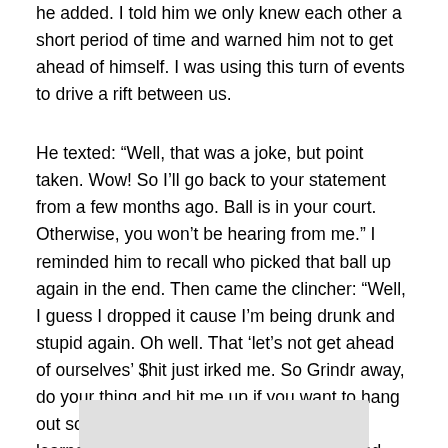he added. I told him we only knew each other a short period of time and warned him not to get ahead of himself. I was using this turn of events to drive a rift between us.
He texted: “Well, that was a joke, but point taken. Wow! So I’ll go back to your statement from a few months ago. Ball is in your court. Otherwise, you won’t be hearing from me.” I reminded him to recall who picked that ball up again in the end. Then came the clincher: “Well, I guess I dropped it cause I’m being drunk and stupid again. Oh well. That ‘let’s not get ahead of ourselves’ $hit just irked me. So Grindr away, do your thing and hit me up if you want to hang out sometime. No hard feelings if not. I’ve learned my lesson about guys in the city and was a dumba$$ to think you could be different. But that’s my fault, not yours.”
[Figure (photo): Partial image strip visible at bottom of page, appears light gray/cropped image]